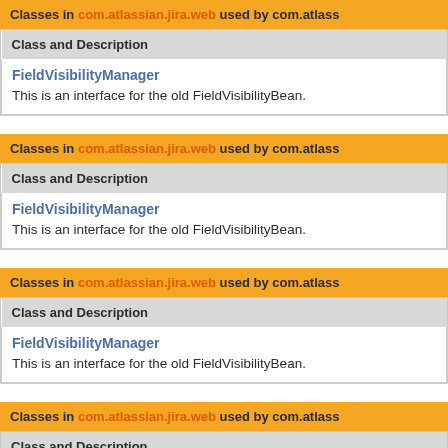Classes in com.atlassian.jira.web used by com.atlass
| Class and Description |
| --- |
| FieldVisibilityManager
This is an interface for the old FieldVisibilityBean. |
Classes in com.atlassian.jira.web used by com.atlass
| Class and Description |
| --- |
| FieldVisibilityManager
This is an interface for the old FieldVisibilityBean. |
Classes in com.atlassian.jira.web used by com.atlass
| Class and Description |
| --- |
| FieldVisibilityManager
This is an interface for the old FieldVisibilityBean. |
Classes in com.atlassian.jira.web used by com.atlass
| Class and Description |
| --- |
|  |